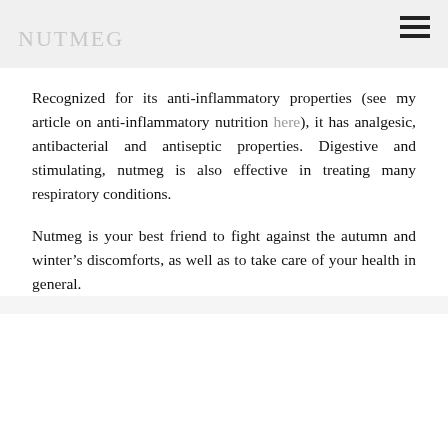NUTMEG
Recognized for its anti-inflammatory properties (see my article on anti-inflammatory nutrition here), it has analgesic, antibacterial and antiseptic properties. Digestive and stimulating, nutmeg is also effective in treating many respiratory conditions.
Nutmeg is your best friend to fight against the autumn and winter’s discomforts, as well as to take care of your health in general.
AUTUMN’S VEGETABLES AU GRATIN